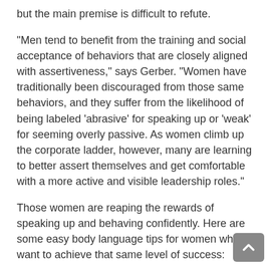but the main premise is difficult to refute.
"Men tend to benefit from the training and social acceptance of behaviors that are closely aligned with assertiveness," says Gerber. "Women have traditionally been discouraged from those same behaviors, and they suffer from the likelihood of being labeled 'abrasive' for speaking up or 'weak' for seeming overly passive. As women climb up the corporate ladder, however, many are learning to better assert themselves and get comfortable with a more active and visible leadership roles."
Those women are reaping the rewards of speaking up and behaving confidently. Here are some easy body language tips for women who want to achieve that same level of success:
Change your posture. A confident stance sends a powerful message — and even helps you to feel more confident. Square your shoulders and bend slightly forward from the waist. Face an audience head-on.